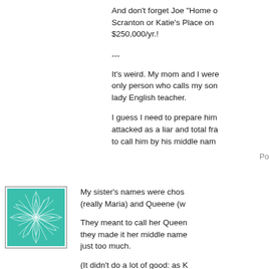And don't forget Joe "Home o... Scranton or Katie's Place on... $250,000/yr.!
---
It's weird. My mom and I were... only person who calls my son... lady English teacher.
I guess I need to prepare him... attacked as a liar and total fra... to call him by his middle nam...
Po...
[Figure (illustration): Teal/turquoise decorative avatar image showing a stylized burst or leaf pattern on white background with a border]
My sister's names were chos... (really Maria) and Queene (w...
They meant to call her Queen... they made it her middle name... just too much.
(It didn't do a lot of good: as K... Snots".)